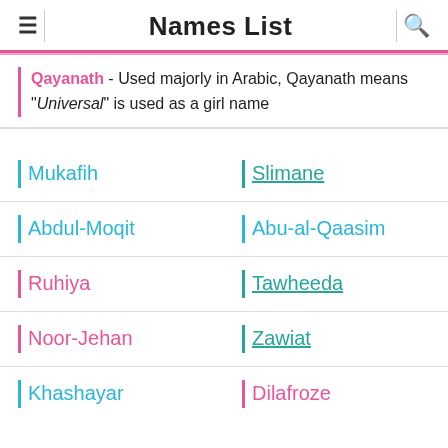Names List
Qayanath - Used majorly in Arabic, Qayanath means "Universal" is used as a girl name
Mukafih
Slimane
Abdul-Moqit
Abu-al-Qaasim
Ruhiya
Tawheeda
Noor-Jehan
Zawiat
Khashayar
Dilafroze